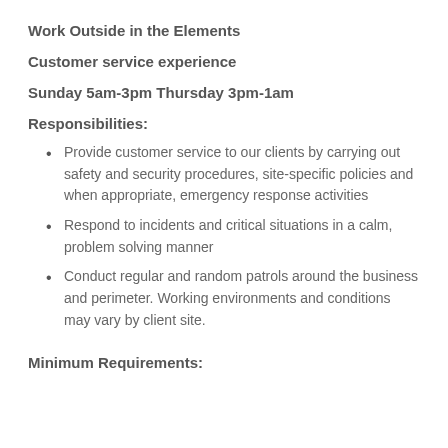Work Outside in the Elements
Customer service experience
Sunday 5am-3pm Thursday 3pm-1am
Responsibilities:
Provide customer service to our clients by carrying out safety and security procedures, site-specific policies and when appropriate, emergency response activities
Respond to incidents and critical situations in a calm, problem solving manner
Conduct regular and random patrols around the business and perimeter. Working environments and conditions may vary by client site.
Minimum Requirements: